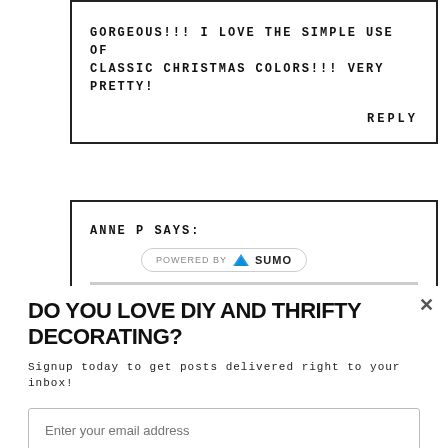GORGEOUS!!! I LOVE THE SIMPLE USE OF CLASSIC CHRISTMAS COLORS!!! VERY PRETTY!
REPLY
ANNE P SAYS:
[Figure (logo): POWERED BY SUMO logo badge]
DO YOU LOVE DIY AND THRIFTY DECORATING?
Signup today to get posts delivered right to your inbox!
Enter your email address
Subscribe Now